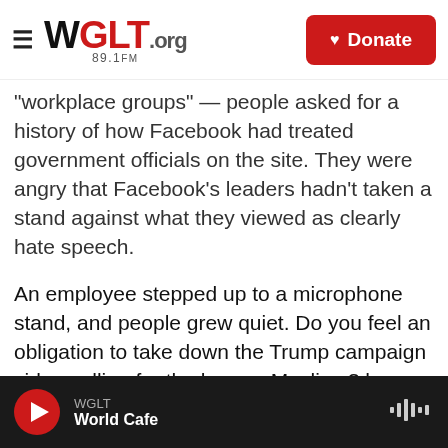WGLT.org 89.1FM | Donate
'workplace groups' — people asked for a history of how Facebook had treated government officials on the site. They were angry that Facebook's leaders hadn't taken a stand against what they viewed as clearly hate speech.
An employee stepped up to a microphone stand, and people grew quiet. Do you feel an obligation to take down the Trump campaign video calling for the ban on Muslims? he asked. The targeting of Muslims, the employee said, appeared to violate Facebook's rule against hate speech.
Zuckerberg was used to fielding hard questions at
WGLT | World Cafe